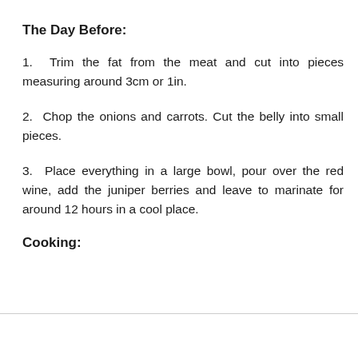The Day Before:
1.  Trim the fat from the meat and cut into pieces measuring around 3cm or 1in.
2.  Chop the onions and carrots. Cut the belly into small pieces.
3.  Place everything in a large bowl, pour over the red wine, add the juniper berries and leave to marinate for around 12 hours in a cool place.
Cooking: